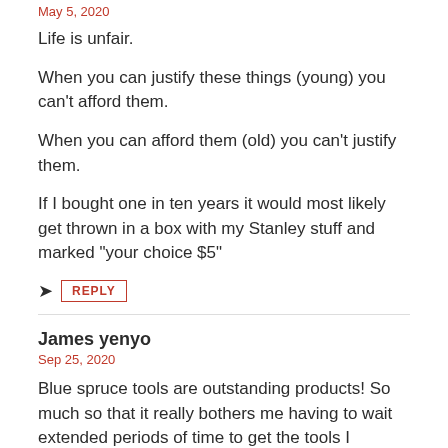May 5, 2020
Life is unfair.
When you can justify these things (young) you can't afford them.
When you can afford them (old) you can't justify them.
If I bought one in ten years it would most likely get thrown in a box with my Stanley stuff and marked "your choice $5"
REPLY
James yenyo
Sep 25, 2020
Blue spruce tools are outstanding products! So much so that it really bothers me having to wait extended periods of time to get the tools I ordered. I know the tools are worth the wait so I can't fault the company for